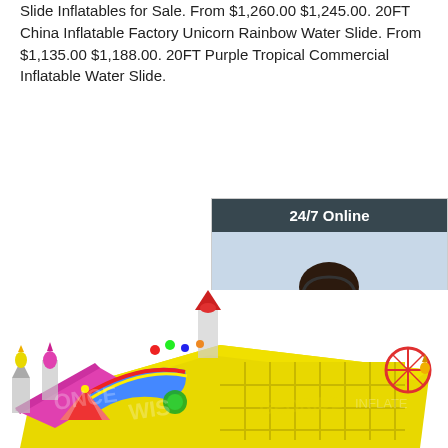Slide Inflatables for Sale. From $1,260.00 $1,245.00. 20FT China Inflatable Factory Unicorn Rainbow Water Slide. From $1,135.00 $1,188.00. 20FT Purple Tropical Commercial Inflatable Water Slide.
[Figure (other): Orange 'Get Price' button]
[Figure (photo): Customer service sidebar widget with '24/7 Online' header, photo of smiling woman with headset, 'Click here for free chat!' text, and orange 'QUOTATION' button]
[Figure (illustration): 3D render of a large colorful inflatable amusement park / bounce house complex with castle towers, slides, and play areas in yellow, pink, green, blue and red colors. Logo watermarks visible.]